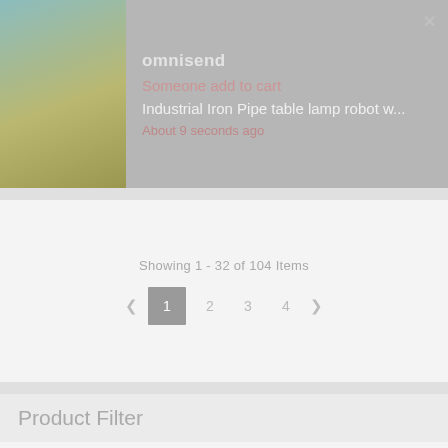[Figure (screenshot): Omnisend notification popup showing someone added Industrial Iron Pipe table lamp robot to cart, about 9 seconds ago, with product image thumbnail on left]
Showing 1 - 32 of 104 Items
< 1 2 3 4 >
Product Filter
Enabled filters:
Price
95 $ - 2200 $
2201 $ - 4300 $
4301 $ - 6400 $
6401 $ - 8500 $
[Figure (logo): TrustedSite badge with green checkmark]